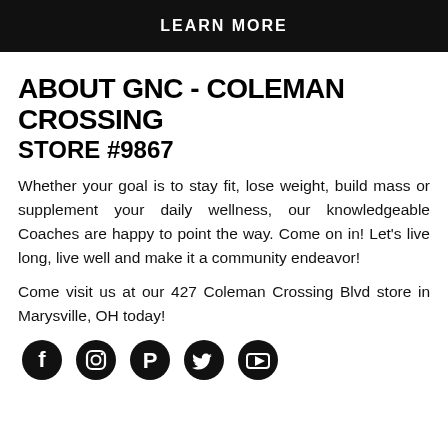LEARN MORE
ABOUT GNC - COLEMAN CROSSING STORE #9867
Whether your goal is to stay fit, lose weight, build mass or supplement your daily wellness, our knowledgeable Coaches are happy to point the way. Come on in! Let's live long, live well and make it a community endeavor!
Come visit us at our 427 Coleman Crossing Blvd store in Marysville, OH today!
[Figure (illustration): Row of five social media icons (Facebook, Instagram, Pinterest, Twitter, YouTube) as black filled circles]